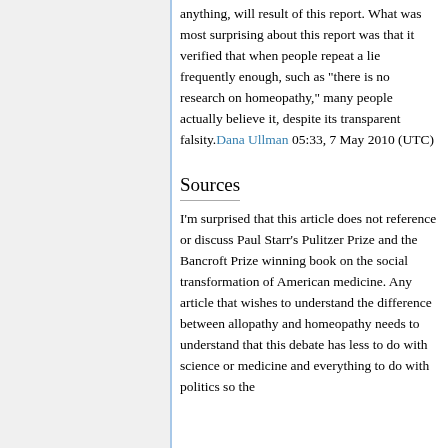anything, will result of this report. What was most surprising about this report was that it verified that when people repeat a lie frequently enough, such as "there is no research on homeopathy," many people actually believe it, despite its transparent falsity.Dana Ullman 05:33, 7 May 2010 (UTC)
Sources
I'm surprised that this article does not reference or discuss Paul Starr's Pulitzer Prize and the Bancroft Prize winning book on the social transformation of American medicine. Any article that wishes to understand the difference between allopathy and homeopathy needs to understand that this debate has less to do with science or medicine and everything to do with politics so the